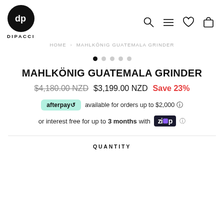[Figure (logo): Dipacci logo — black circle with white 'dp' letters, and 'DIPACCI' text below]
HOME > MAHLKÖNIG GUATEMALA GRINDER
[Figure (other): Image carousel dots: 5 dots, first one filled black, rest grey]
MAHLKÖNIG GUATEMALA GRINDER
$4,180.00 NZD  $3,199.00 NZD  Save 23%
afterpay available for orders up to $2,000 ℹ
or interest free for up to 3 months with Zip ℹ
QUANTITY